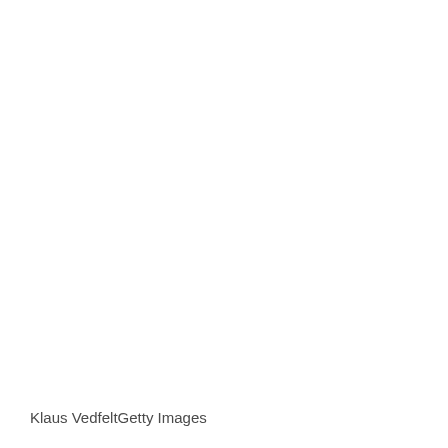[Figure (photo): Blank white photograph or image area filling most of the page]
Klaus VedfeltGetty Images